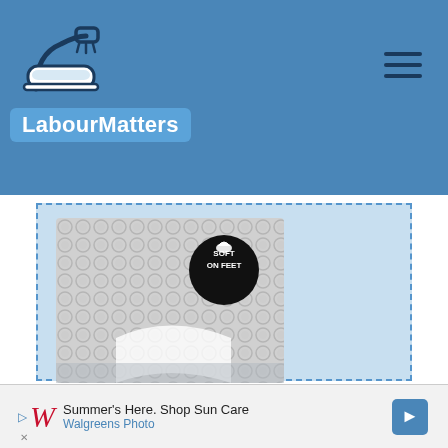[Figure (logo): LabourMatters logo with shower head icon above text on blue header background]
[Figure (photo): A clear flexible bath mat with bubble texture, showing 'SOFT ON FEET' badge and 'FLEXIBLE MATERIAL' label on black bar at bottom]
Here is our best choice
If I were ever in the market for the best
[Figure (infographic): Walgreens advertisement banner: Summer's Here. Shop Sun Care / Walgreens Photo]